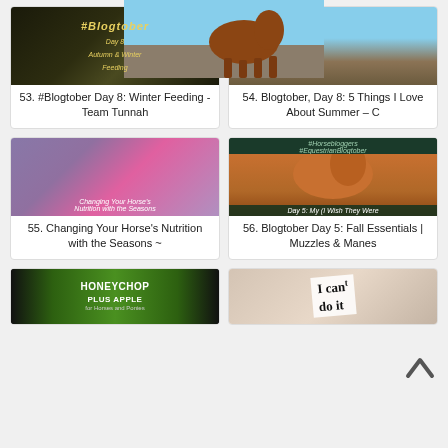[Figure (photo): Dark forest/nature image with yellow text overlay reading #Blogtober Day 8 Autumn & Winter Feeding]
53. #Blogtober Day 8: Winter Feeding - Team Tunnah
[Figure (photo): Brown horse standing in a field with blue sky]
54. Blogtober, Day 8: 5 Things I Love About Summer – C
[Figure (photo): Person in pink hat close to horse, with text overlay about changing horse nutrition with the seasons]
55. Changing Your Horse's Nutrition with the Seasons ~
[Figure (photo): #Horsebloggers #EquestrianBlogtober banner with horse image and text Day 5: My (I Wish They Were]
56. Blogtober Day 5: Fall Essentials | Muzzles & Manes
[Figure (photo): Honeychop Plus Apple product bag with horse illustration on green background]
[Figure (photo): Hand holding paper with handwritten text 'I cant do it']